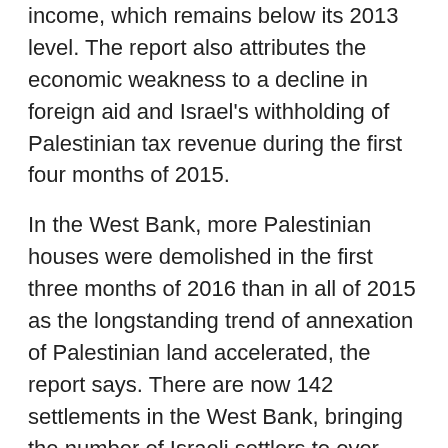income, which remains below its 2013 level. The report also attributes the economic weakness to a decline in foreign aid and Israel's withholding of Palestinian tax revenue during the first four months of 2015.
In the West Bank, more Palestinian houses were demolished in the first three months of 2016 than in all of 2015 as the longstanding trend of annexation of Palestinian land accelerated, the report says. There are now 142 settlements in the West Bank, bringing the number of Israeli settlers to over one fifth of the Palestinian population. This expansion undermines the prospects for a two-State solution, the report says.
While Palestinian imports represent only 6 per cent of total imports handled by the Israeli customs and value added tax department, the fees collected by Israel to process Palestinian imports finance one third of the budget of the department. Charging fees that are proportional to the